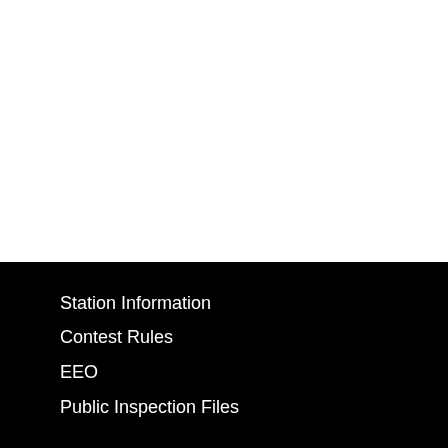Station Information
Contest Rules
EEO
Public Inspection Files